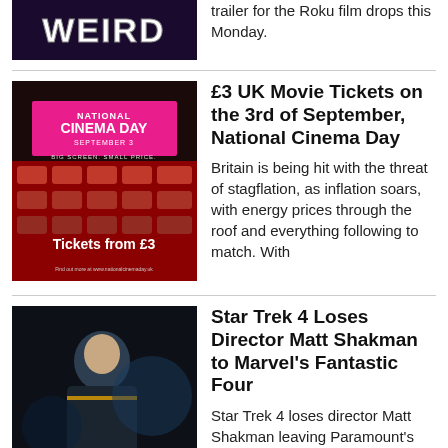trailer for the Roku film drops this Monday.
[Figure (photo): National Cinema Day promotional image showing red cinema seats with text 'NATIONAL CINEMA DAY SEPTEMBER 3 BIG SCREEN. SMALL PRICE. Tickets from £3']
£3 UK Movie Tickets on the 3rd of September, National Cinema Day
Britain is being hit with the threat of stagflation, as inflation soars, with energy prices through the roof and everything following to match. With
[Figure (photo): Star Trek movie still showing a man in military uniform looking to the side in a dark setting]
Star Trek 4 Loses Director Matt Shakman to Marvel's Fantastic Four
Star Trek 4 loses director Matt Shakman leaving Paramount's Kelvin Universe's fate